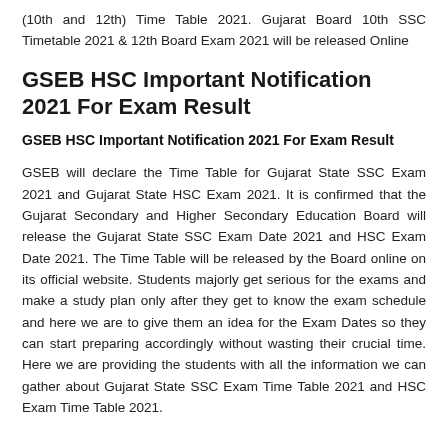(10th and 12th) Time Table 2021. Gujarat Board 10th SSC Timetable 2021 & 12th Board Exam 2021 will be released Online
GSEB HSC Important Notification 2021 For Exam Result
GSEB HSC Important Notification 2021 For Exam Result
GSEB will declare the Time Table for Gujarat State SSC Exam 2021 and Gujarat State HSC Exam 2021. It is confirmed that the Gujarat Secondary and Higher Secondary Education Board will release the Gujarat State SSC Exam Date 2021 and HSC Exam Date 2021. The Time Table will be released by the Board online on its official website. Students majorly get serious for the exams and make a study plan only after they get to know the exam schedule and here we are to give them an idea for the Exam Dates so they can start preparing accordingly without wasting their crucial time. Here we are providing the students with all the information we can gather about Gujarat State SSC Exam Time Table 2021 and HSC Exam Time Table 2021.